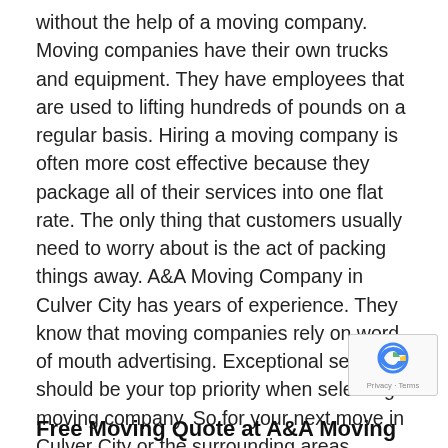without the help of a moving company. Moving companies have their own trucks and equipment. They have employees that are used to lifting hundreds of pounds on a regular basis. Hiring a moving company is often more cost effective because they package all of their services into one flat rate. The only thing that customers usually need to worry about is the act of packing things away. A&A Moving Company in Culver City has years of experience. They know that moving companies rely on word of mouth advertising. Exceptional service should be your top priority when selecting a moving company. So for your next move in Culver City or the surrounding areas contact A and A Moving at 323-573-0010.
Free Moving Quote at A&A Moving